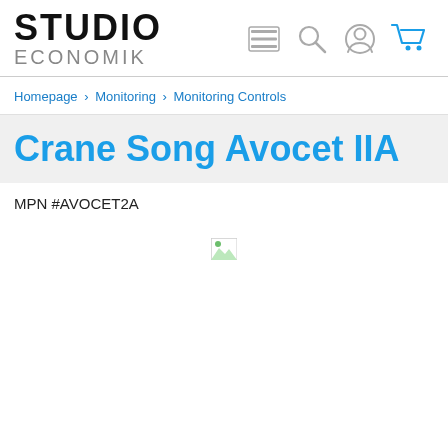STUDIO ECONOMIK
Homepage › Monitoring › Monitoring Controls
Crane Song Avocet IIA
MPN #AVOCET2A
[Figure (photo): Broken/unloaded product image placeholder]